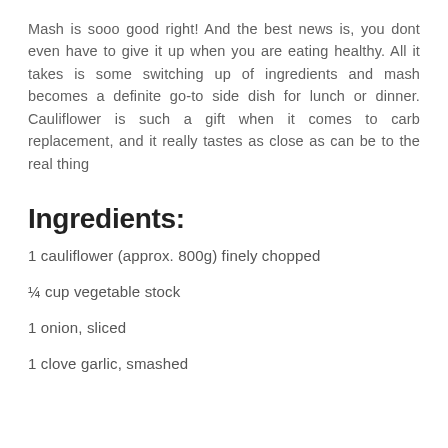Mash is sooo good right! And the best news is, you dont even have to give it up when you are eating healthy. All it takes is some switching up of ingredients and mash becomes a definite go-to side dish for lunch or dinner. Cauliflower is such a gift when it comes to carb replacement, and it really tastes as close as can be to the real thing
Ingredients:
1 cauliflower (approx. 800g) finely chopped
¼ cup vegetable stock
1 onion, sliced
1 clove garlic, smashed